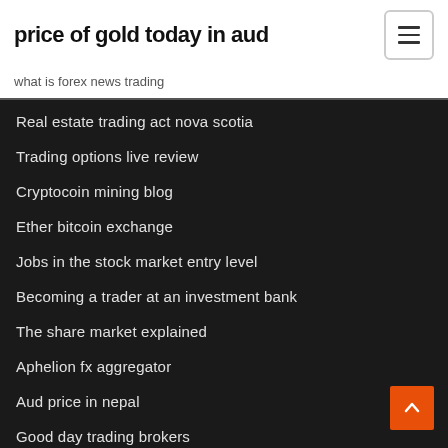price of gold today in aud
what is forex news trading
Real estate trading act nova scotia
Trading options live review
Cryptocoin mining blog
Ether bitcoin exchange
Jobs in the stock market entry level
Becoming a trader at an investment bank
The share market explained
Aphelion fx aggregator
Aud price in nepal
Good day trading brokers